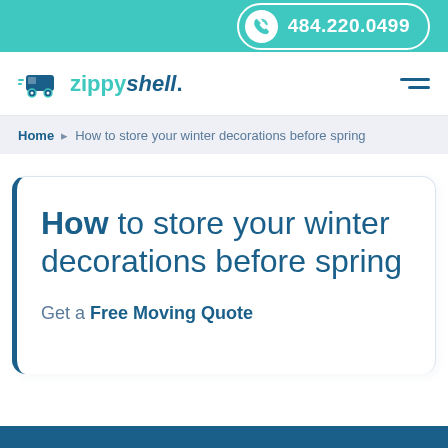484.220.0499
[Figure (logo): Zippy Shell logo with truck icon and brand name]
Home • How to store your winter decorations before spring
How to store your winter decorations before spring
Get a Free Moving Quote